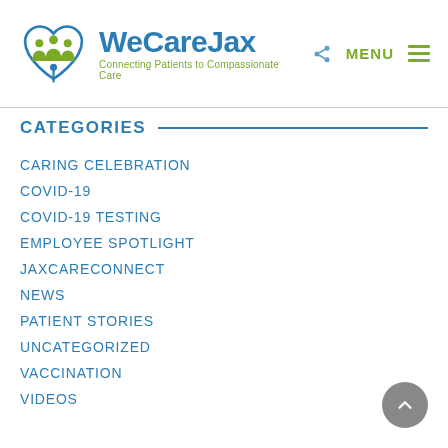[Figure (logo): WeCareJax logo with heart icon containing three person figures, blue text 'WeCareJax', green tagline 'Connecting Patients to Compassionate Care', share icon, MENU label and hamburger icon]
CATEGORIES
CARING CELEBRATION
COVID-19
COVID-19 TESTING
EMPLOYEE SPOTLIGHT
JAXCARECONNECT
NEWS
PATIENT STORIES
UNCATEGORIZED
VACCINATION
VIDEOS